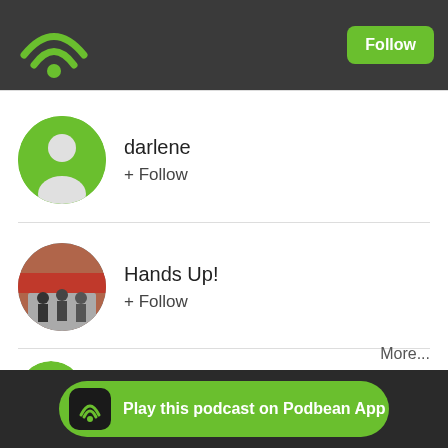[Figure (screenshot): Podbean app header with green wifi logo and Follow button]
darlene + Follow
Hands Up! + Follow
bmdvicrg + Follow
More...
[Figure (screenshot): Play this podcast on Podbean App banner at bottom]